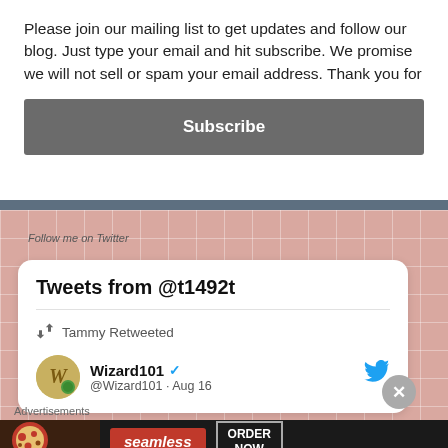Please join our mailing list to get updates and follow our blog. Just type your email and hit subscribe. We promise we will not sell or spam your email address. Thank you for
Subscribe
Follow me on Twitter
Tweets from @t1492t
Tammy Retweeted
Wizard101
@Wizard101 · Aug 16
Advertisements
[Figure (screenshot): Seamless food delivery advertisement banner showing pizza image, Seamless logo, and ORDER NOW button]